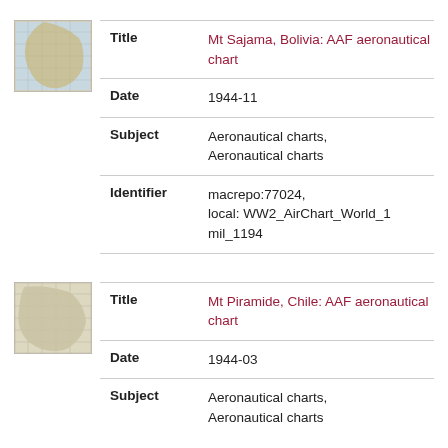[Figure (map): Thumbnail map image of Mt Sajama Bolivia aeronautical chart]
| Field | Value |
| --- | --- |
| Title | Mt Sajama, Bolivia: AAF aeronautical chart |
| Date | 1944-11 |
| Subject | Aeronautical charts, Aeronautical charts |
| Identifier | macrepo:77024, local: WW2_AirChart_World_1mil_1194 |
[Figure (map): Thumbnail map image of Mt Piramide Chile aeronautical chart]
| Field | Value |
| --- | --- |
| Title | Mt Piramide, Chile: AAF aeronautical chart |
| Date | 1944-03 |
| Subject | Aeronautical charts, Aeronautical charts |